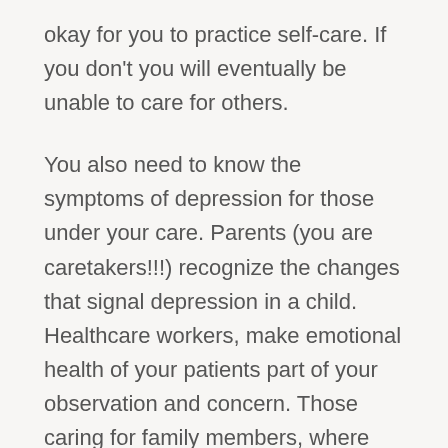okay for you to practice self-care. If you don't you will eventually be unable to care for others.
You also need to know the symptoms of depression for those under your care. Parents (you are caretakers!!!) recognize the changes that signal depression in a child. Healthcare workers, make emotional health of your patients part of your observation and concern. Those caring for family members, where the ri...